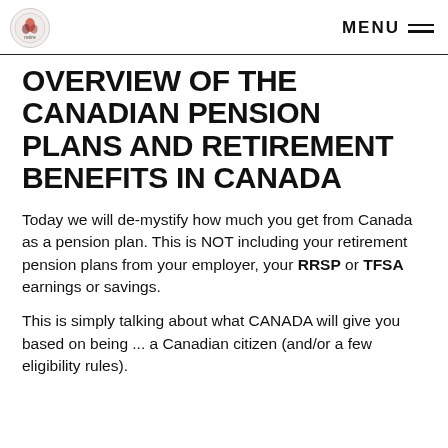MENU
OVERVIEW OF THE CANADIAN PENSION PLANS AND RETIREMENT BENEFITS IN CANADA
Today we will de-mystify how much you get from Canada as a pension plan. This is NOT including your retirement pension plans from your employer, your RRSP or TFSA earnings or savings.
This is simply talking about what CANADA will give you based on being ... a Canadian citizen (and/or a few eligibility rules).